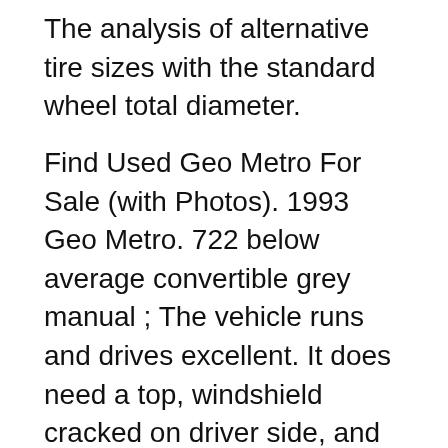The analysis of alternative tire sizes with the standard wheel total diameter.
Find Used Geo Metro For Sale (with Photos). 1993 Geo Metro. 722 below average convertible grey manual ; The vehicle runs and drives excellent. It does need a top, windshield cracked on driver side, and the hood repaired. 1991 Geo Metro Runs well, 168,000 miles, funnmittle car to drive around . 1,000 Minot, ND Minot, ND 2 years at Convertible. Hatchback. Sedan. Drive Type. Front Wheel Drive. Fuel Type. Gasoline. Fuel Economy. 10 - 19 MPG. 20 - 29 MPG. 30 - 39 MPG. 40+ MPG. Cylinders. 3 Cylinder. 4 Cylinder. Exterior Color. Beige. Find Geo Metro